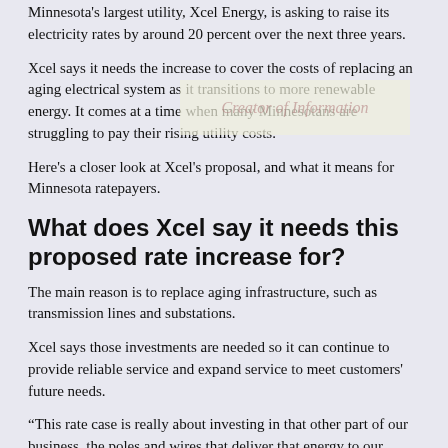Minnesota's largest utility, Xcel Energy, is asking to raise its electricity rates by around 20 percent over the next three years.
Xcel says it needs the increase to cover the costs of replacing an aging electrical system as it transitions to more renewable energy. It comes at a time when many Minnesotans are struggling to pay their rising utility costs.
Here's a closer look at Xcel's proposal, and what it means for Minnesota ratepayers.
What does Xcel say it needs this proposed rate increase for?
The main reason is to replace aging infrastructure, such as transmission lines and substations.
Xcel says those investments are needed so it can continue to provide reliable service and expand service to meet customers' future needs.
“This rate case is really about investing in that other part of our business, the poles and wires that deliver that energy to our customers and recognizing that much of that system was installed decades ago,” said Chris Clark, Xcel’s president in Minnesota, North and South Dakota. “It’s